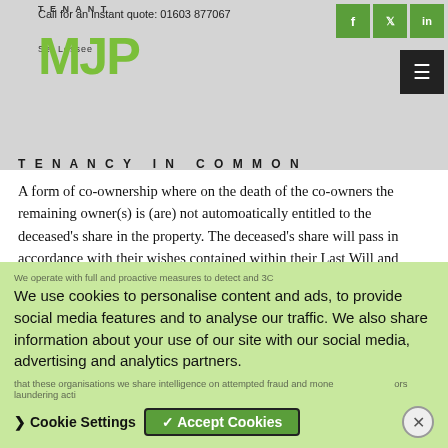Call for an instant quote: 01603 877067
TENANT Se Lessee MJP
TENANCY IN COMMON
A form of co-ownership where on the death of the co-owners the remaining owner(s) is (are) not automoatically entitled to the deceased's share in the property. The deceased's share will pass in accordance with their wishes contained within their Last Will and Testament.
TERM ASSURANCE
Life insurance which only last for the term of the mortgage...
We use cookies to personalise content and ads, to provide social media features and to analyse our traffic. We also share information about your use of our site with our social media, advertising and analytics partners.